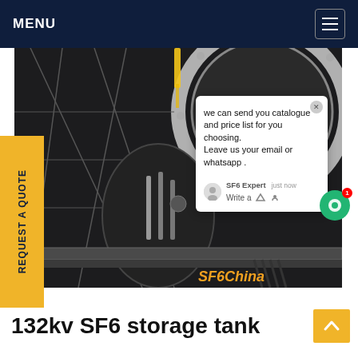MENU
[Figure (photo): Industrial SF6 gas storage tank equipment inside a facility, showing large circular flange and metal structures with wiring. A chat popup overlay reads: 'we can send you catalogue and price list for you choosing. Leave us your email or whatsapp.' with SF6 Expert label and 'just now' timestamp. SF6China watermark visible in orange/gold in lower right.]
REQUEST A QUOTE
132kv SF6 storage tank